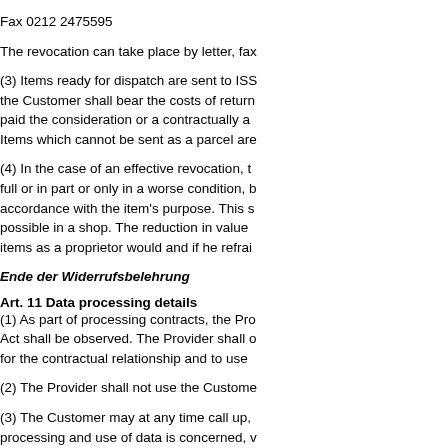Fax 0212 2475595
The revocation can take place by letter, fa...
(3) Items ready for dispatch are sent to ISS... the Customer shall bear the costs of return... paid the consideration or a contractually a... Items which cannot be sent as a parcel are...
(4) In the case of an effective revocation, t... full or in part or only in a worse condition, b... accordance with the item's purpose. This s... possible in a shop. The reduction in value ... items as a proprietor would and if he refrai...
Ende der Widerrufsbelehrung
Art. 11 Data processing details
(1) As part of processing contracts, the Pro... Act shall be observed. The Provider shall o... for the contractual relationship and to use ...
(2) The Provider shall not use the Custome...
(3) The Customer may at any time call up,... processing and use of data is concerned, v... security".
Art. 12 Final provisions
(1) The law of the Federal Republic of Ger...
(2) To the extent that the Customer is a bu...